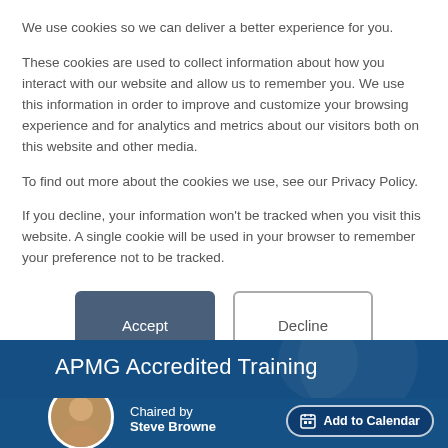We use cookies so we can deliver a better experience for you.
These cookies are used to collect information about how you interact with our website and allow us to remember you. We use this information in order to improve and customize your browsing experience and for analytics and metrics about our visitors both on this website and other media.
To find out more about the cookies we use, see our Privacy Policy.
If you decline, your information won’t be tracked when you visit this website. A single cookie will be used in your browser to remember your preference not to be tracked.
[Figure (other): Two buttons: Accept (dark blue filled) and Decline (white with border)]
APMG Accredited Training
Chaired by Steve Browne
[Figure (other): Add to Calendar button with calendar icon]